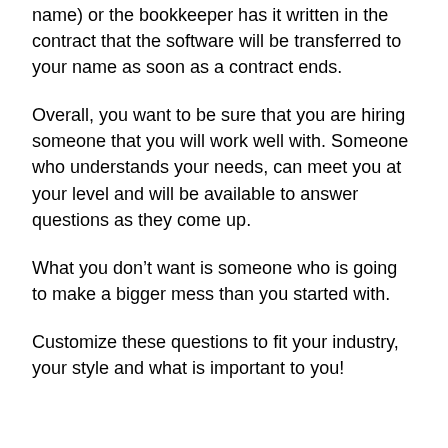name) or the bookkeeper has it written in the contract that the software will be transferred to your name as soon as a contract ends.
Overall, you want to be sure that you are hiring someone that you will work well with. Someone who understands your needs, can meet you at your level and will be available to answer questions as they come up.
What you don’t want is someone who is going to make a bigger mess than you started with.
Customize these questions to fit your industry, your style and what is important to you!